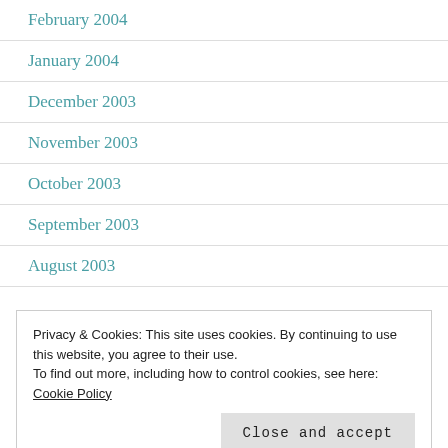February 2004
January 2004
December 2003
November 2003
October 2003
September 2003
August 2003
Privacy & Cookies: This site uses cookies. By continuing to use this website, you agree to their use. To find out more, including how to control cookies, see here: Cookie Policy
Close and accept
May 2003